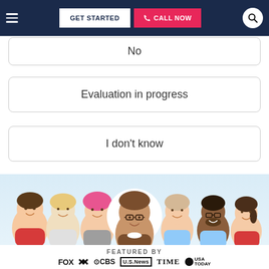GET STARTED | CALL NOW
No
Evaluation in progress
I don't know
[Figure (illustration): Cartoon illustration of diverse group of people/tutors on light blue background, center figure is a man with glasses and brown hair in a white circle]
FEATURED BY
[Figure (logo): Media logos: FOX, NBC, CBS, U.S. News, TIME, USA TODAY]
TUTORS FROM
Yale   Princeton   Stanford   Cornell